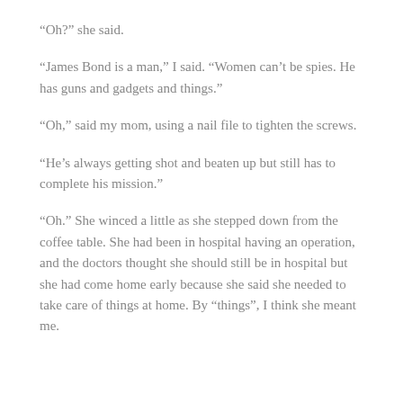“Oh?” she said.
“James Bond is a man,” I said. “Women can’t be spies. He has guns and gadgets and things.”
“Oh,” said my mom, using a nail file to tighten the screws.
“He’s always getting shot and beaten up but still has to complete his mission.”
“Oh.” She winced a little as she stepped down from the coffee table. She had been in hospital having an operation, and the doctors thought she should still be in hospital but she had come home early because she said she needed to take care of things at home. By “things”, I think she meant me.